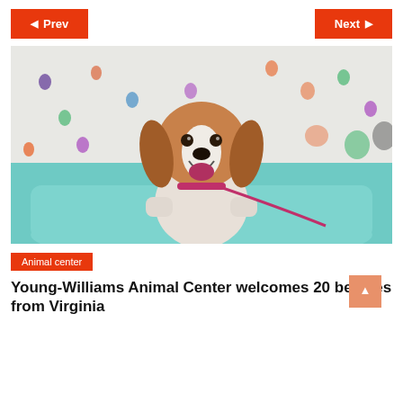Prev | Next
[Figure (photo): A happy beagle puppy with a pink leash sitting in a teal plastic tub, with colorful handprint decorations on the wall behind it.]
Animal center
Young-Williams Animal Center welcomes 20 beagles from Virginia